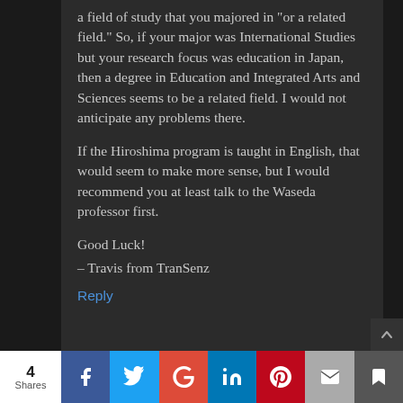a field of study that you majored in "or a related field." So, if your major was International Studies but your research focus was education in Japan, then a degree in Education and Integrated Arts and Sciences seems to be a related field. I would not anticipate any problems there.
If the Hiroshima program is taught in English, that would seem to make more sense, but I would recommend you at least talk to the Waseda professor first.
Good Luck!
– Travis from TranSenz
Reply